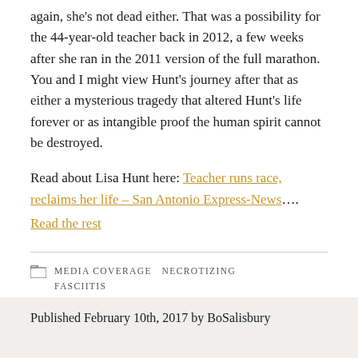again, she's not dead either. That was a possibility for the 44-year-old teacher back in 2012, a few weeks after she ran in the 2011 version of the full marathon. You and I might view Hunt's journey after that as either a mysterious tragedy that altered Hunt's life forever or as intangible proof the human spirit cannot be destroyed.
Read about Lisa Hunt here: Teacher runs race, reclaims her life – San Antonio Express-News…. Read the rest
MEDIA COVERAGE  NECROTIZING FASCIITIS
Published February 10th, 2017 by BoSalisbury